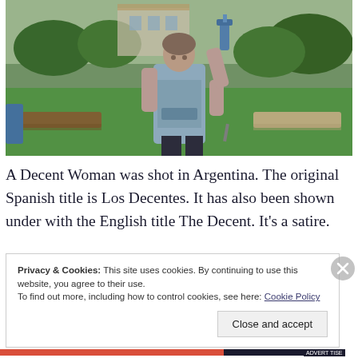[Figure (photo): A woman in a light blue apron/smock holds up a blue spray bottle with one hand, standing outdoors near sun loungers with a green lawn and trees in background. Argentina setting.]
A Decent Woman was shot in Argentina. The original Spanish title is Los Decentes. It has also been shown under with the English title The Decent. It’s a satire.
Privacy & Cookies: This site uses cookies. By continuing to use this website, you agree to their use.
To find out more, including how to control cookies, see here: Cookie Policy
Close and accept